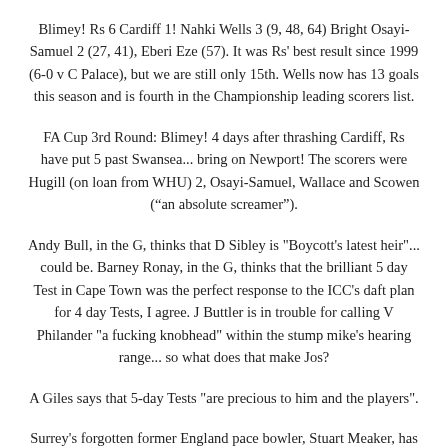Blimey! Rs 6 Cardiff 1! Nahki Wells 3 (9, 48, 64) Bright Osayi-Samuel 2 (27, 41), Eberi Eze (57). It was Rs' best result since 1999 (6-0 v C Palace), but we are still only 15th. Wells now has 13 goals this season and is fourth in the Championship leading scorers list.
FA Cup 3rd Round: Blimey! 4 days after thrashing Cardiff, Rs have put 5 past Swansea... bring on Newport! The scorers were Hugill (on loan from WHU) 2, Osayi-Samuel, Wallace and Scowen (“an absolute screamer”).
Andy Bull, in the G, thinks that D Sibley is "Boycott's latest heir"... could be. Barney Ronay, in the G, thinks that the brilliant 5 day Test in Cape Town was the perfect response to the ICC's daft plan for 4 day Tests, I agree. J Buttler is in trouble for calling V Philander "a fucking knobhead" within the stump mike's hearing range... so what does that make Jos?
A Giles says that 5-day Tests "are precious to him and the players".
Surrey's forgotten former England pace bowler, Stuart Meaker, has